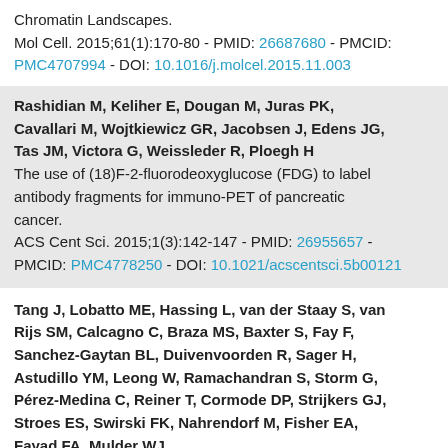Chromatin Landscapes.
Mol Cell. 2015;61(1):170-80 - PMID: 26687680 - PMCID: PMC4707994 - DOI: 10.1016/j.molcel.2015.11.003
Rashidian M, Keliher E, Dougan M, Juras PK, Cavallari M, Wojtkiewicz GR, Jacobsen J, Edens JG, Tas JM, Victora G, Weissleder R, Ploegh H
The use of (18)F-2-fluorodeoxyglucose (FDG) to label antibody fragments for immuno-PET of pancreatic cancer.
ACS Cent Sci. 2015;1(3):142-147 - PMID: 26955657 - PMCID: PMC4778250 - DOI: 10.1021/acscentsci.5b00121
Tang J, Lobatto ME, Hassing L, van der Staay S, van Rijs SM, Calcagno C, Braza MS, Baxter S, Fay F, Sanchez-Gaytan BL, Duivenvoorden R, Sager H, Astudillo YM, Leong W, Ramachandran S, Storm G, Pérez-Medina C, Reiner T, Cormode DP, Strijkers GJ, Stroes ES, Swirski FK, Nahrendorf M, Fisher EA, Fayad FA, Mulder WJ